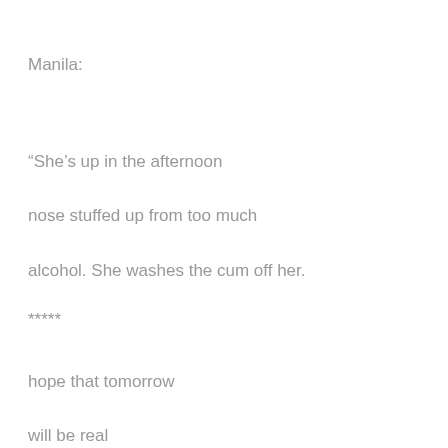Manila:
“She’s up in the afternoon

nose stuffed up from too much

alcohol. She washes the cum off her.
*****
hope that tomorrow

will be real